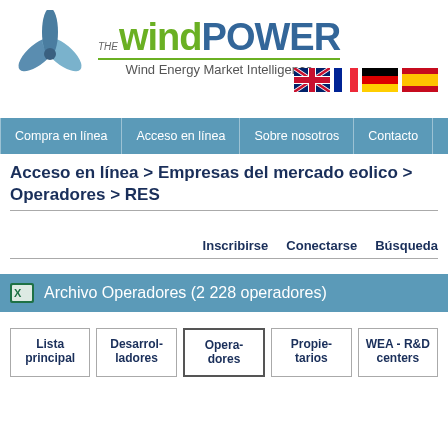[Figure (logo): The Wind Power logo with wind turbine blade graphic, green 'wind' and blue 'POWER' text, subtitle 'Wind Energy Market Intelligence']
[Figure (illustration): Four country flags: UK, France, Germany, Spain]
Compra en línea | Acceso en línea | Sobre nosotros | Contacto
Acceso en línea > Empresas del mercado eolico > Operadores > RES
Inscribirse   Conectarse   Búsqueda
Archivo Operadores (2 228 operadores)
Lista principal | Desarrol-ladores | Opera-dores | Propie-tarios | WEA - R&D centers